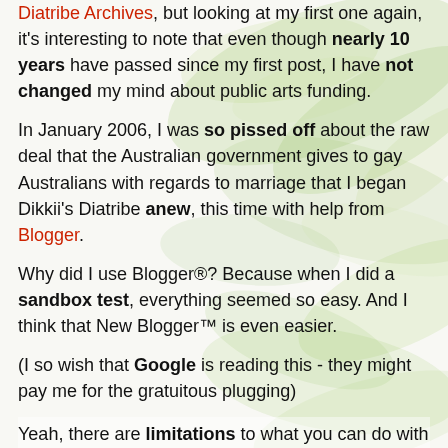Diatribe Archives, but looking at my first one again, it's interesting to note that even though nearly 10 years have passed since my first post, I have not changed my mind about public arts funding.
In January 2006, I was so pissed off about the raw deal that the Australian government gives to gay Australians with regards to marriage that I began Dikkii's Diatribe anew, this time with help from Blogger.
Why did I use Blogger®? Because when I did a sandbox test, everything seemed so easy. And I think that New Blogger™ is even easier.
(I so wish that Google is reading this - they might pay me for the gratuitous plugging)
Yeah, there are limitations to what you can do with Blogger - have a look at what Orac did to his before moving on to the utter professionalism of Scienceblogs - but it does me.
Initially, I toyed with the idea of using a new name. "The